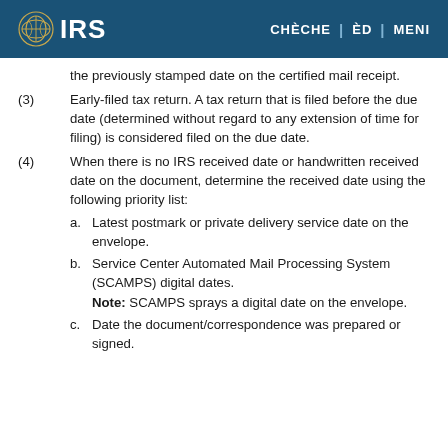IRS | CHÈCHE | ÈD | MENI
the previously stamped date on the certified mail receipt.
(3) Early-filed tax return. A tax return that is filed before the due date (determined without regard to any extension of time for filing) is considered filed on the due date.
(4) When there is no IRS received date or handwritten received date on the document, determine the received date using the following priority list:
a. Latest postmark or private delivery service date on the envelope.
b. Service Center Automated Mail Processing System (SCAMPS) digital dates. Note: SCAMPS sprays a digital date on the envelope.
c. Date the document/correspondence was prepared or signed.